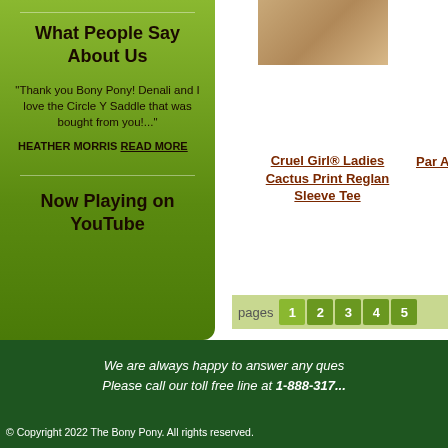What People Say About Us
"Thank you Bony Pony! Denali and I love the Circle Y Saddle that was bought from you!..."
HEATHER MORRIS READ MORE
Now Playing on YouTube
[Figure (photo): Product photo thumbnail]
Cruel Girl® Ladies Cactus Print Reglan Sleeve Tee
Par Az
pages 1 2 3 4 5
We are always happy to answer any ques... Please call our toll free line at 1-888-317...
© Copyright 2022 The Bony Pony. All rights reserved.